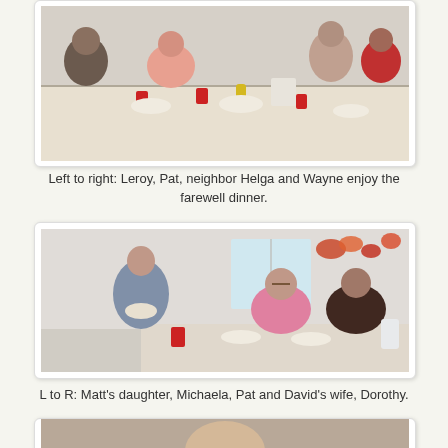[Figure (photo): People sitting around a table eating a farewell dinner. Several older adults visible with food, drinks and condiments on the table.]
Left to right: Leroy, Pat, neighbor Helga and Wayne enjoy the farewell dinner.
[Figure (photo): Three women sitting at a table with a young woman standing holding a plate. Autumn leaf decorations on the wall behind them. Red cups and condiments on table.]
L to R: Matt's daughter, Michaela, Pat and David's wife, Dorothy.
[Figure (photo): Partial view of a person's head/face, appearing to be an older man.]